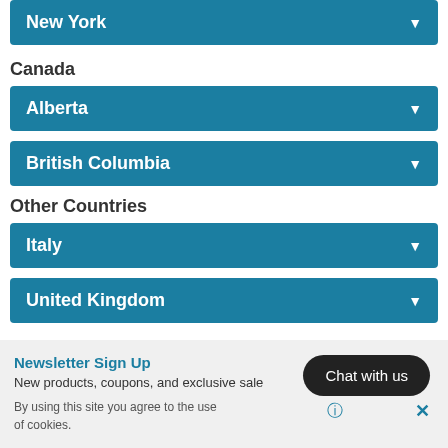New York
Canada
Alberta
British Columbia
Other Countries
Italy
United Kingdom
Newsletter Sign Up
New products, coupons, and exclusive sale...you
By using this site you agree to the use of cookies.
Chat with us